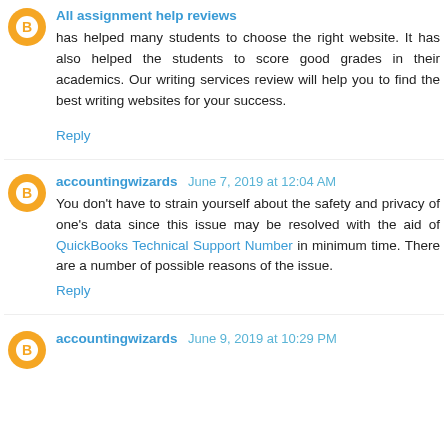All assignment help reviews
has helped many students to choose the right website. It has also helped the students to score good grades in their academics. Our writing services review will help you to find the best writing websites for your success.
Reply
accountingwizards June 7, 2019 at 12:04 AM
You don't have to strain yourself about the safety and privacy of one's data since this issue may be resolved with the aid of QuickBooks Technical Support Number in minimum time. There are a number of possible reasons of the issue.
Reply
accountingwizards June 9, 2019 at 10:29 PM